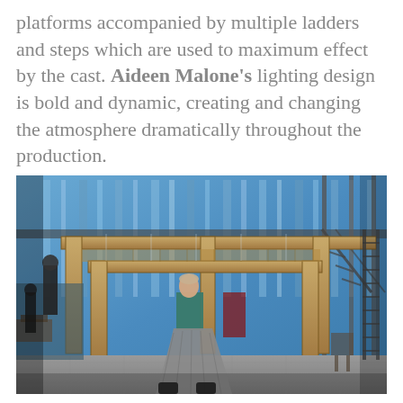platforms accompanied by multiple ladders and steps which are used to maximum effect by the cast. Aideen Malone's lighting design is bold and dynamic, creating and changing the atmosphere dramatically throughout the production.
[Figure (photo): A theatrical stage set with wooden timber frame structures forming large doorway/gateway shapes, metal scaffolding and ladders in the background, blue-lit fabric or curtains as backdrop. A performer in a long grey skirt and teal top walks through the wooden frame. Other cast members visible in dark costumes on elevated platforms to the left. Stage floor is wooden planks.]